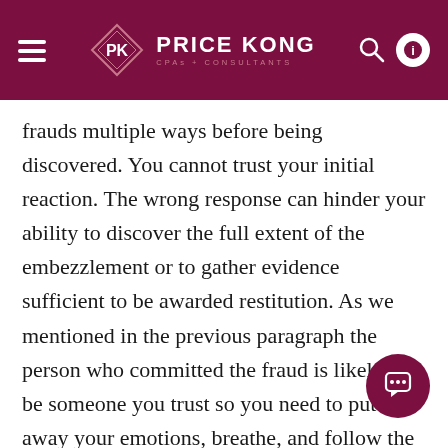Price Kong CPAs + Consultants
frauds multiple ways before being discovered. You cannot trust your initial reaction. The wrong response can hinder your ability to discover the full extent of the embezzlement or to gather evidence sufficient to be awarded restitution. As we mentioned in the previous paragraph the person who committed the fraud is likely to be someone you trust so you need to put away your emotions, breathe, and follow the plan.
The actual fraud is likely significantly larger than what you initially suspect. Your first reaction may be to confront the suspect. This can provide the...